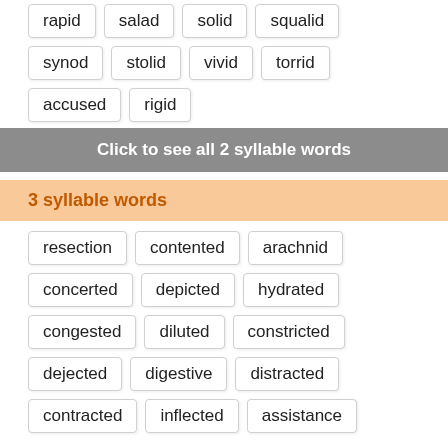rapid
salad
solid
squalid
synod
stolid
vivid
torrid
accused
rigid
Click to see all 2 syllable words
3 syllable words
resection
contented
arachnid
concerted
depicted
hydrated
congested
diluted
constricted
dejected
digestive
distracted
contracted
inflected
assistance